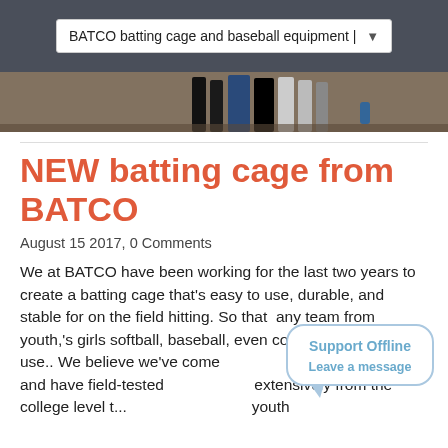BATCO batting cage and baseball equipment |
[Figure (photo): Partial photo showing people's legs and feet on a field, cropped to just the lower body]
NEW batting cage from BATCO
August 15 2017, 0 Comments
We at BATCO have been working for the last two years to create a batting cage that's easy to use, durable, and stable for on the field hitting. So that  any team from youth,'s girls softball, baseball, even college teams could use.. We believe we've come that product and have field-tested extensively from the college level t... youth